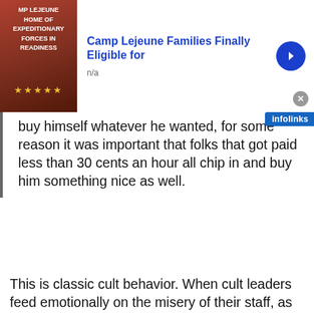[Figure (screenshot): Top advertisement banner: Camp Lejeune military image on left, title 'Camp Lejeune Families Finally Eligible for' in blue bold text, 'n/a' below, blue circle arrow button on right, gray close X button, infolinks label top right]
buy himself whatever he wanted, for some reason it was important that folks that got paid less than 30 cents an hour all chip in and buy him something nice as well.
This is classic cult behavior. When cult leaders feed emotionally on the misery of their staff, as is clearly the case in Scientology, one of the forms of abuse that they dole out is financial abuse. Paying staff less than subsistence wages is, of course, the biggest form of this. Miscavige knows and enjoys the suffering of staff due to lack of toilet paper, basic hygiene items, etc. So to add
[Figure (screenshot): Bottom advertisement banner: US Marines seal/logo image on left (red background), title 'Camp Lejeune Families (1953-1987) Eligible' in blue bold text, 'n/a' below, blue circle arrow button on right, gray close X button]